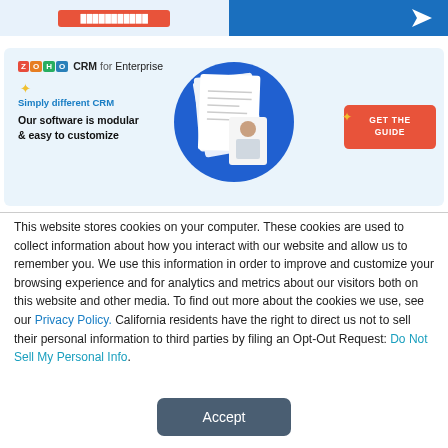[Figure (screenshot): Top banner with a red button on the left (light blue background) and a blue panel with arrow icon on the right]
[Figure (infographic): Zoho CRM for Enterprise advertisement banner with logo, tagline 'Simply different CRM', headline 'Our software is modular & easy to customize', document illustration with blue circle, and a red 'GET THE GUIDE' button]
This website stores cookies on your computer. These cookies are used to collect information about how you interact with our website and allow us to remember you. We use this information in order to improve and customize your browsing experience and for analytics and metrics about our visitors both on this website and other media. To find out more about the cookies we use, see our Privacy Policy. California residents have the right to direct us not to sell their personal information to third parties by filing an Opt-Out Request: Do Not Sell My Personal Info.
Accept